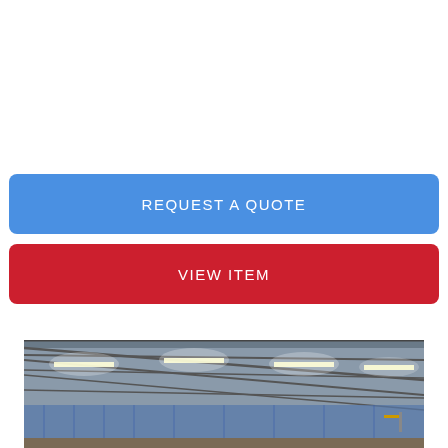REQUEST A QUOTE
VIEW ITEM
[Figure (photo): Interior of a large sports hall or warehouse with high ceiling, metal roof trusses, and overhead LED strip lighting. Blue netting or curtains visible along the walls. Basketball hoops visible in the background.]